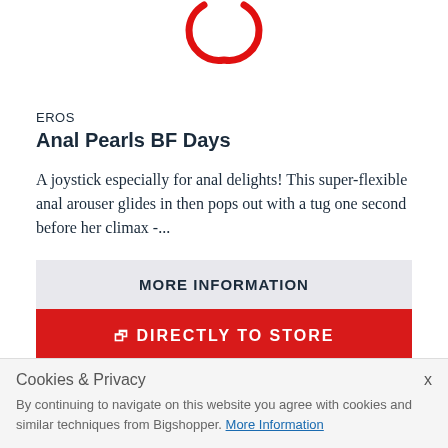[Figure (other): Partial red circular loading spinner icon visible at top center of page]
EROS
Anal Pearls BF Days
A joystick especially for anal delights! This super-flexible anal arouser glides in then pops out with a tug one second before her climax -...
MORE INFORMATION
DIRECTLY TO STORE
-22%
£13.39
Cookies & Privacy
By continuing to navigate on this website you agree with cookies and similar techniques from Bigshopper. More Information
x